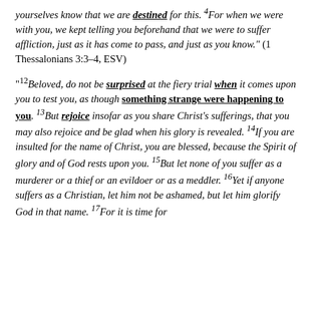yourselves know that we are destined for this. 4For when we were with you, we kept telling you beforehand that we were to suffer affliction, just as it has come to pass, and just as you know." (1 Thessalonians 3:3–4, ESV)
"12Beloved, do not be surprised at the fiery trial when it comes upon you to test you, as though something strange were happening to you. 13But rejoice insofar as you share Christ's sufferings, that you may also rejoice and be glad when his glory is revealed. 14If you are insulted for the name of Christ, you are blessed, because the Spirit of glory and of God rests upon you. 15But let none of you suffer as a murderer or a thief or an evildoer or as a meddler. 16Yet if anyone suffers as a Christian, let him not be ashamed, but let him glorify God in that name. 17For it is time for